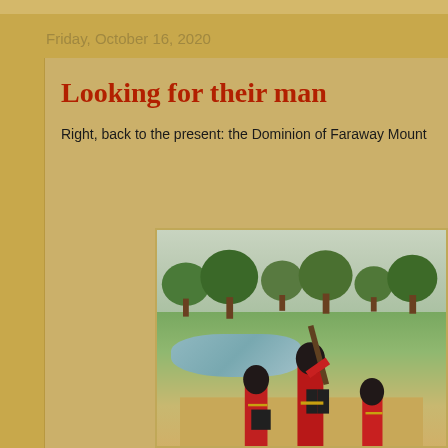Friday, October 16, 2020
Looking for their man
Right, back to the present: the Dominion of Faraway Mount
[Figure (photo): Miniature toy soldiers in red uniforms with dark caps on a diorama terrain with green grass, a pond, and trees in the background. Several figures visible, one holding a rifle.]